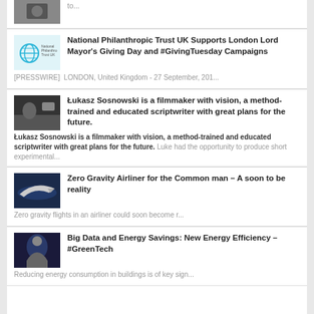to...
National Philanthropic Trust UK Supports London Lord Mayor's Giving Day and #GivingTuesday Campaigns
[PRESSWIRE]  LONDON, United Kingdom - 27 September, 201...
Łukasz Sosnowski is a filmmaker with vision, a method-trained and educated scriptwriter with great plans for the future.
Luke had the opportunity to produce short experimental...
Zero Gravity Airliner for the Common man – A soon to be reality
Zero gravity flights in an airliner could soon become r...
Big Data and Energy Savings: New Energy Efficiency – #GreenTech
Reducing energy consumption in buildings is of key sign...